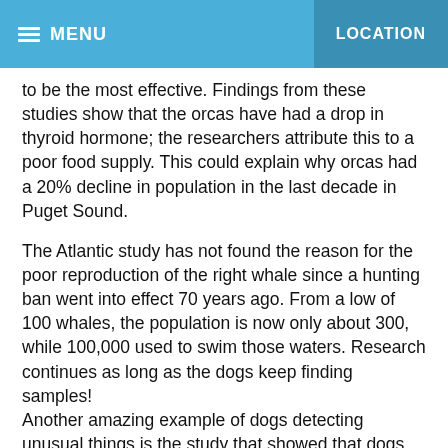≡ MENU    LOCATION
to be the most effective. Findings from these studies show that the orcas have had a drop in thyroid hormone; the researchers attribute this to a poor food supply. This could explain why orcas had a 20% decline in population in the last decade in Puget Sound.
The Atlantic study has not found the reason for the poor reproduction of the right whale since a hunting ban went into effect 70 years ago. From a low of 100 whales, the population is now only about 300, while 100,000 used to swim those waters. Research continues as long as the dogs keep finding samples!
Another amazing example of dogs detecting unusual things is the study that showed that dogs can identify people with cancer by smelling the person's breath or urine. The person's breath was used to find lung and breast cancer; urine was used to detect bladder or prostate cancer. The dogs were accurate 99% of the time for lung